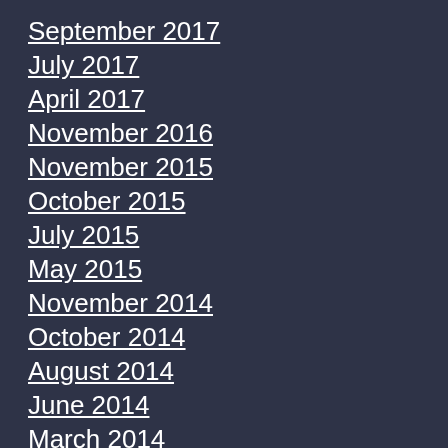September 2017
July 2017
April 2017
November 2016
November 2015
October 2015
July 2015
May 2015
November 2014
October 2014
August 2014
June 2014
March 2014